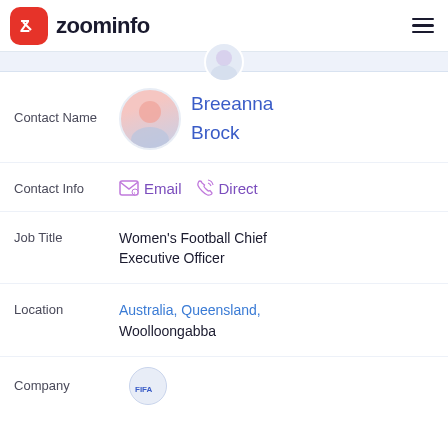zoominfo
Contact Name: Breeanna Brock
Contact Info: Email  Direct
Job Title: Women's Football Chief Executive Officer
Location: Australia, Queensland, Woolloongabba
Company (partial)